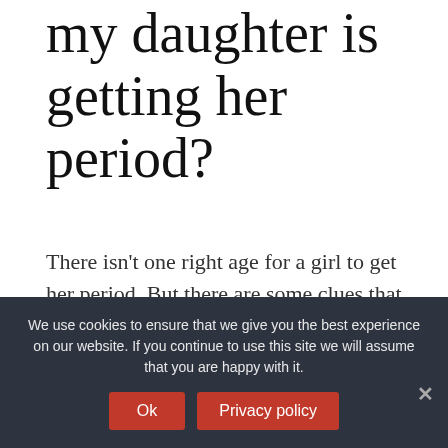my daughter is getting her period?
There isn't one right age for a girl to get her period. But there are some clues that it will start soon: Most of the time, a girl gets her period about 2 years after her breasts start to develop. Another sign is vaginal discharge fluid (sort of like mucus) that a girl might see or feel on her underwear.
How can you tell if
We use cookies to ensure that we give you the best experience on our website. If you continue to use this site we will assume that you are happy with it.